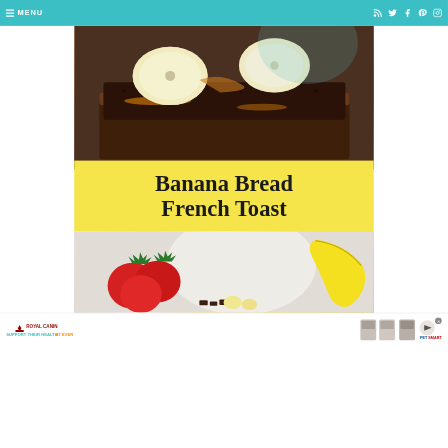≡ MENU
[Figure (photo): Close-up photo of banana bread French toast with banana slices on top, syrup drizzled, on a dark plate]
Banana Bread French Toast
[Figure (photo): Ingredients photo showing strawberries, a banana, and other items on a light surface]
[Figure (other): Royal Canin advertisement: SUPPORT THEIR HEALTH AT EVERY STAGE with PetSmart branding]